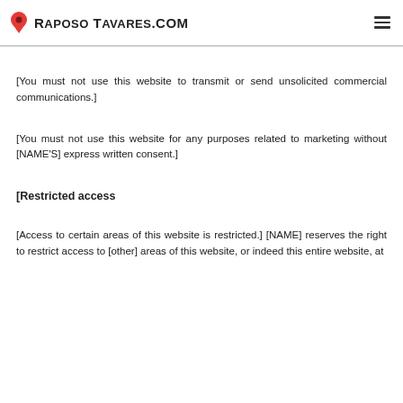Raposo Tavares.com
[You must not use this website to transmit or send unsolicited commercial communications.]
[You must not use this website for any purposes related to marketing without [NAME'S] express written consent.]
[Restricted access
[Access to certain areas of this website is restricted.] [NAME] reserves the right to restrict access to [other] areas of this website, or indeed this entire website, at